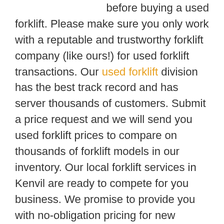before buying a used forklift. Please make sure you only work with a reputable and trustworthy forklift company (like ours!) for used forklift transactions. Our used forklift division has the best track record and has server thousands of customers. Submit a price request and we will send you used forklift prices to compare on thousands of forklift models in our inventory. Our local forklift services in Kenvil are ready to compete for you business. We promise to provide you with no-obligation pricing for new forklifts, used forklifts, forklift rentals, and forklift leases in Kenvil. We ONLY work with the best forklift companies in Kenvil. Clark, Crown, Hyster, and CAT forklifts are some of the great forklift manufacturers we work with daily, and we promise to treat you how we would want to be treated as a customer. It takes just a moment...